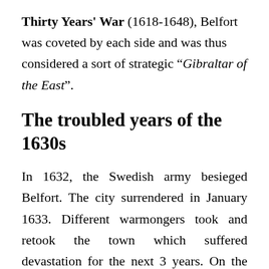Thirty Years' War (1618-1648), Belfort was coveted by each side and was thus considered a sort of strategic “Gibraltar of the East”.
The troubled years of the 1630s
In 1632, the Swedish army besieged Belfort. The city surrendered in January 1633. Different warmongers took and retook the town which suffered devastation for the next 3 years. On the 28th June 1636, the French definitively took the town. Fighting in the